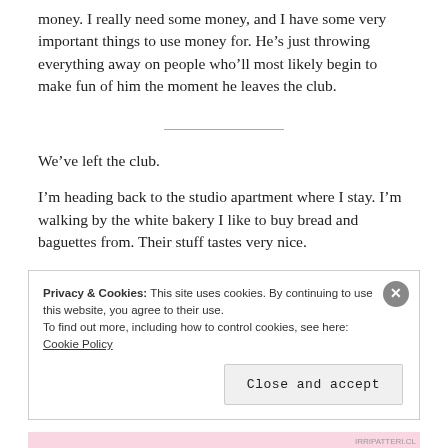money. I really need some money, and I have some very important things to use money for. He’s just throwing everything away on people who’ll most likely begin to make fun of him the moment he leaves the club.
We’ve left the club.
I’m heading back to the studio apartment where I stay. I’m walking by the white bakery I like to buy bread and baguettes from. Their stuff tastes very nice.
There’s this baker-cum attendant they have there: Light
Privacy & Cookies: This site uses cookies. By continuing to use this website, you agree to their use.
To find out more, including how to control cookies, see here: Cookie Policy
Close and accept